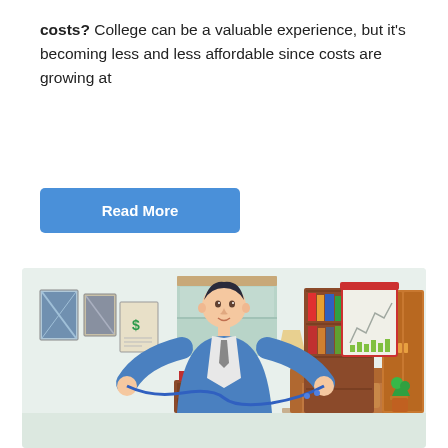costs? College can be a valuable experience, but it's becoming less and less affordable since costs are growing at
[Figure (illustration): A blue 'Read More' button with white text on a rounded rectangle background]
[Figure (illustration): Animated illustration of a man in a blue jacket holding a money bag with a dollar sign and financial chart documents, standing in a living room with a bookcase, wardrobe, lamp, couch, framed pictures, and a small potted plant]